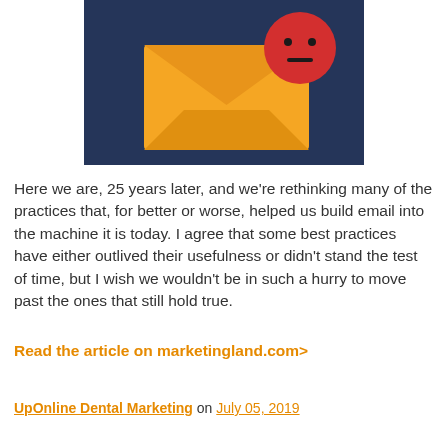[Figure (illustration): Dark navy blue background with a yellow/orange envelope illustration and a red neutral-face emoji circle overlapping the top-right corner of the envelope.]
Here we are, 25 years later, and we're rethinking many of the practices that, for better or worse, helped us build email into the machine it is today. I agree that some best practices have either outlived their usefulness or didn't stand the test of time, but I wish we wouldn't be in such a hurry to move past the ones that still hold true.
Read the article on marketingland.com>
UpOnline Dental Marketing on July 05, 2019